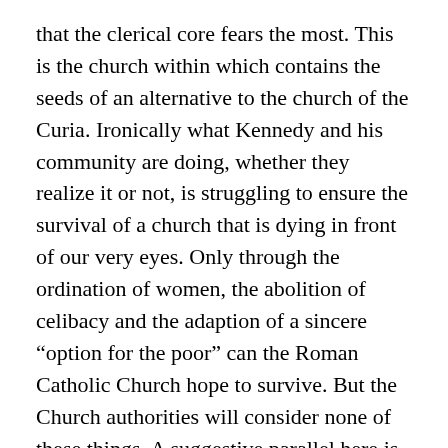that the clerical core fears the most. This is the church within which contains the seeds of an alternative to the church of the Curia. Ironically what Kennedy and his community are doing, whether they realize it or not, is struggling to ensure the survival of a church that is dying in front of our very eyes. Only through the ordination of women, the abolition of celibacy and the adaption of a sincere “option for the poor” can the Roman Catholic Church hope to survive. But the Church authorities will consider none of these things. A suggestive parallel here is the situation in Soviet Russia after Stalin’s death. Reform was critically needed, but there was no one to bring in the reforms. The reformers had all been murdered long ago.
The CPSU made something of an effort under Kruschev but then gave up the attempt to reform